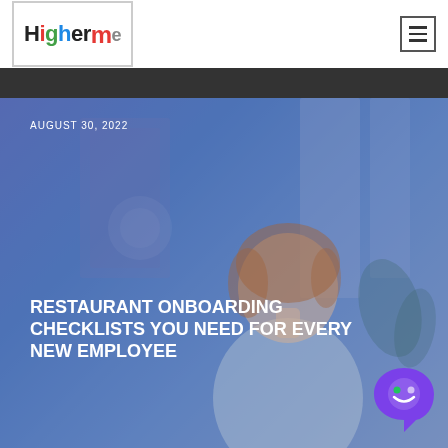[Figure (logo): HigherMe logo with colorful letters in a bordered box]
[Figure (photo): Hero image showing a smiling woman in a restaurant/office setting with a blue overlay tint, dated August 30, 2022, with chat widget in bottom right corner]
AUGUST 30, 2022
RESTAURANT ONBOARDING CHECKLISTS YOU NEED FOR EVERY NEW EMPLOYEE